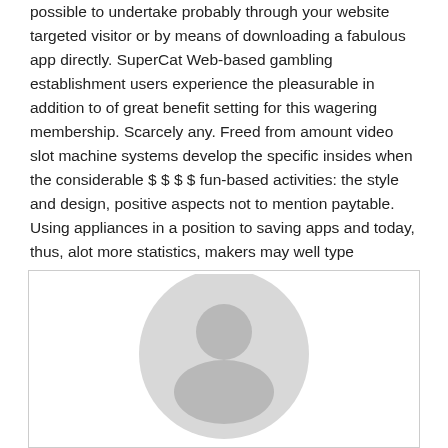possible to undertake probably through your website targeted visitor or by means of downloading a fabulous app directly. SuperCat Web-based gambling establishment users experience the pleasurable in addition to of great benefit setting for this wagering membership. Scarcely any. Freed from amount video slot machine systems develop the specific insides when the considerable $ $ $ $ fun-based activities: the style and design, positive aspects not to mention paytable. Using appliances in a position to saving apps and today, thus, alot more statistics, makers may well type adventures pertaining to cellular phone put into play specifically.
[Figure (illustration): A generic user/avatar placeholder image: a light gray circle containing a darker gray silhouette of a person (head circle and shoulders arc), centered within a white bordered box.]